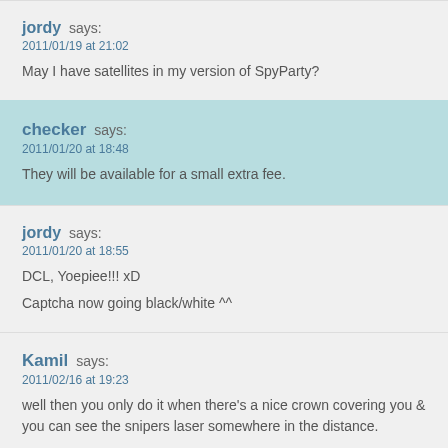jordy says:
2011/01/19 at 21:02
May I have satellites in my version of SpyParty?
checker says:
2011/01/20 at 18:48
They will be available for a small extra fee.
jordy says:
2011/01/20 at 18:55
DCL, Yoepiee!!! xD
Captcha now going black/white ^^
Kamil says:
2011/02/16 at 19:23
well then you only do it when there's a nice crown covering you & you can see the snipers laser somewhere in the distance.